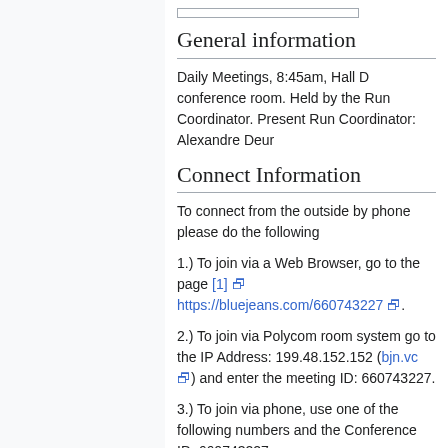General information
Daily Meetings, 8:45am, Hall D conference room. Held by the Run Coordinator. Present Run Coordinator: Alexandre Deur
Connect Information
To connect from the outside by phone please do the following
1.) To join via a Web Browser, go to the page [1] https://bluejeans.com/660743227 .
2.) To join via Polycom room system go to the IP Address: 199.48.152.152 (bjn.vc) and enter the meeting ID: 660743227.
3.) To join via phone, use one of the following numbers and the Conference ID: 660743227.
4.) The moderator code is 8394
Dial Either +1 408 740 7256 or +1 888 240 2560 for US or Canada
4.) More information on connecting to